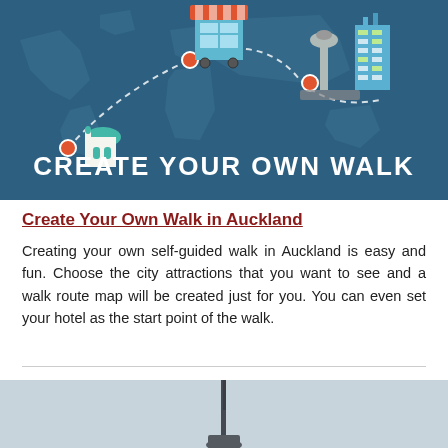[Figure (infographic): Banner illustration showing a world map with cartoon city landmarks (mosque, market stall, airport tower, skyscrapers) connected by a dashed route path with red circle markers. Text reads CREATE YOUR OWN WALK in white bold letters at the bottom of the banner.]
Create Your Own Walk in Auckland
Creating your own self-guided walk in Auckland is easy and fun. Choose the city attractions that you want to see and a walk route map will be created just for you. You can even set your hotel as the start point of the walk.
[Figure (photo): Partial photo of a tall tower (Sky Tower) against a grey sky, cropped at the bottom of the page.]